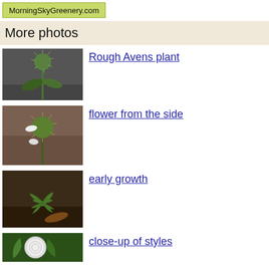MorningSkyGreenery.com
More photos
[Figure (photo): Rough Avens plant photo - green spiky seedhead on stem with leaves against dark gravel background]
Rough Avens plant
[Figure (photo): Flower from the side - green spiky globe with white petals visible, brown soil background]
flower from the side
[Figure (photo): Early growth of Rough Avens - low rosette of deeply lobed green leaves on dark soil with dead leaves]
early growth
[Figure (photo): Close-up of styles - white spherical styles on green flower head, close view]
close-up of styles